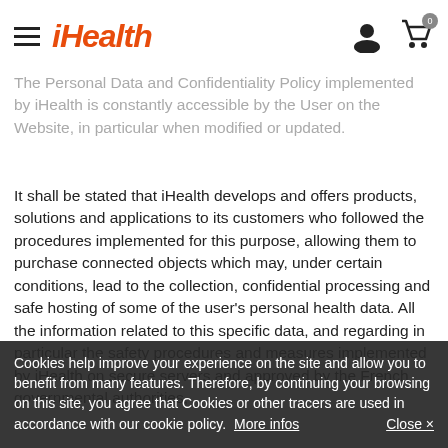iHealth
The Personal Data and Confidentiality Policy implemented by iHealth is constantly accessible by the User on the Website, in particular when modified or updated.
It shall be stated that iHealth develops and offers products, solutions and applications to its customers who followed the procedures implemented for this purpose, allowing them to purchase connected objects which may, under certain conditions, lead to the collection, confidential processing and safe hosting of some of the user's personal health data. All the information related to this specific data, and regarding in particular the safety procedures and measures implemented by iHealth on secure servers and approved by the French governmental authorities,
Cookies help improve your experience on the site and allow you to benefit from many features. Therefore, by continuing your browsing on this site, you agree that Cookies or other tracers are used in accordance with our cookie policy. More infos   Close ×